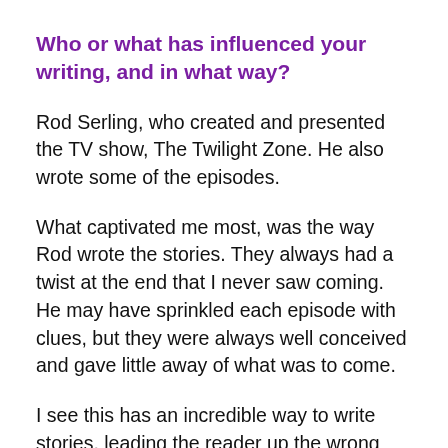Who or what has influenced your writing, and in what way?
Rod Serling, who created and presented the TV show, The Twilight Zone. He also wrote some of the episodes.
What captivated me most, was the way Rod wrote the stories. They always had a twist at the end that I never saw coming. He may have sprinkled each episode with clues, but they were always well conceived and gave little away of what was to come.
I see this has an incredible way to write stories, leading the reader up the wrong garden path, so to